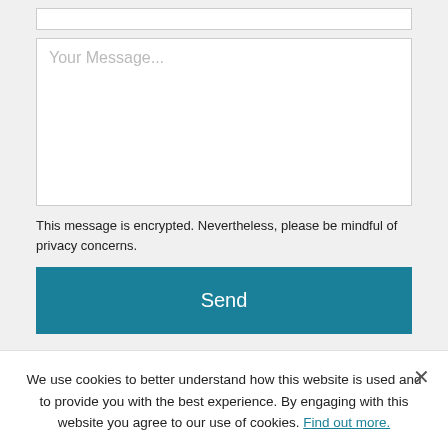[Figure (screenshot): Text area input box with placeholder text 'Your Message...']
This message is encrypted. Nevertheless, please be mindful of privacy concerns.
[Figure (screenshot): Teal 'Send' button]
Search
Testimonials
Newsle...
We use cookies to better understand how this website is used and to provide you with the best experience. By engaging with this website you agree to our use of cookies. Find out more.